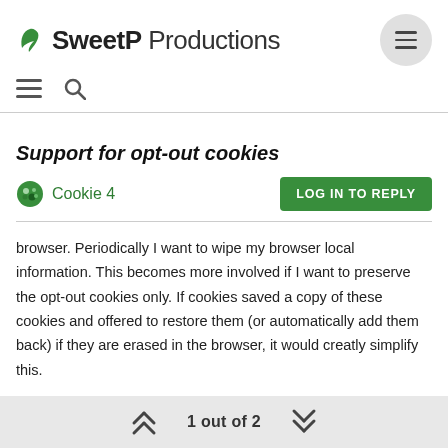SweetP Productions
Support for opt-out cookies
Cookie 4
browser. Periodically I want to wipe my browser local information. This becomes more involved if I want to preserve the opt-out cookies only. If cookies saved a copy of these cookies and offered to restore them (or automatically add them back) if they are erased in the browser, it would creatly simplify this.

Thanks for your consideration,
Alan
1 out of 2